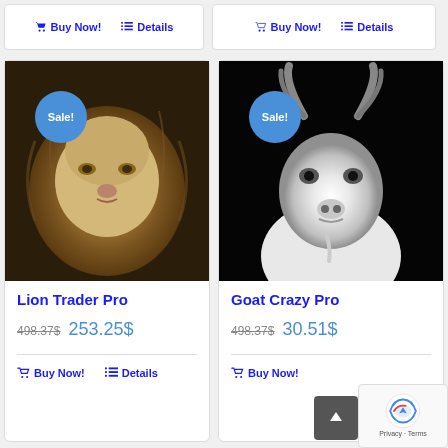Buy Now! Details (top left card buttons)
Buy Now! Details (top right card buttons)
[Figure (photo): Close-up sepia-toned photo of a lion's face with full mane, with a blue 'Sale!' badge in upper left]
Lion Trader Pro
498.37$ 253.25$
Buy Now! Details
[Figure (photo): Black and white photo of a goat facing forward with curved horns, with a blue 'Sale!' badge in upper left]
Goat Crazy Pro
498.37$ 30.51$
Buy Now! Details